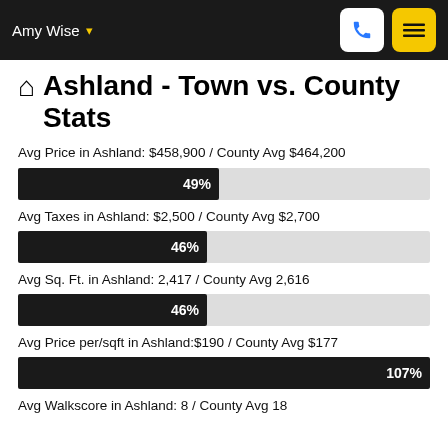Amy Wise
Ashland - Town vs. County Stats
Avg Price in Ashland: $458,900 / County Avg $464,200
[Figure (bar-chart): Avg Price percentage]
Avg Taxes in Ashland: $2,500 / County Avg $2,700
[Figure (bar-chart): Avg Taxes percentage]
Avg Sq. Ft. in Ashland: 2,417 / County Avg 2,616
[Figure (bar-chart): Avg Sq Ft percentage]
Avg Price per/sqft in Ashland:$190 / County Avg $177
[Figure (bar-chart): Avg Price per sqft percentage]
Avg Walkscore in Ashland: 8 / County Avg 18